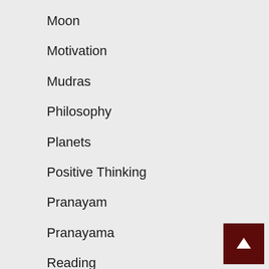Moon
Motivation
Mudras
Philosophy
Planets
Positive Thinking
Pranayam
Pranayama
Reading
Reiki
Spirituality